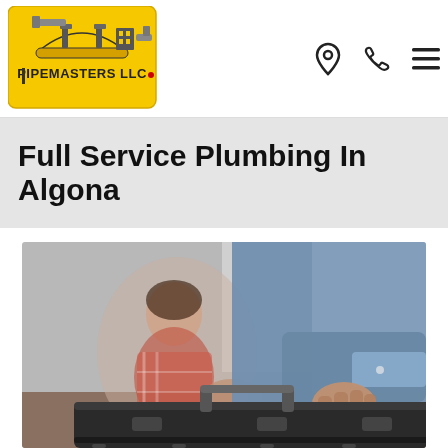[Figure (logo): Pipemasters LLC logo — yellow hard hat with pipe fittings, text PIPEMASTERS LLC with red dot]
[Figure (infographic): Header navigation icons: location pin, phone handset, hamburger menu]
Full Service Plumbing In Algona
[Figure (photo): Plumber in denim shirt carrying a black toolbox, woman in plaid shirt shaking hands in background, blurred indoor setting]